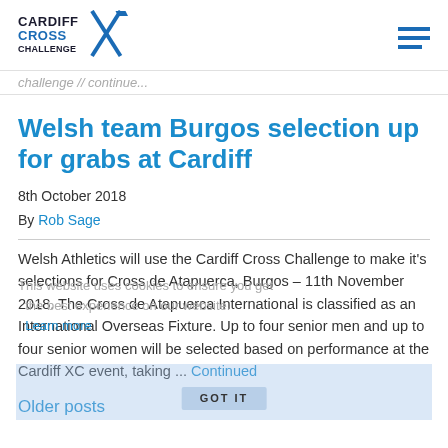Cardiff Cross Challenge
challenge // continue...
Welsh team Burgos selection up for grabs at Cardiff
8th October 2018
By Rob Sage
Welsh Athletics will use the Cardiff Cross Challenge to make it's selections for Cross de Atapuerca, Burgos – 11th November 2018. The Cross de Atapuerca International is classified as an International Overseas Fixture. Up to four senior men and up to four senior women will be selected based on performance at the Cardiff XC event, taking ... Continued
Older posts